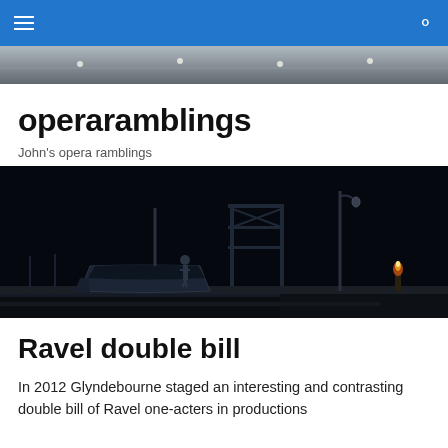operaramblings navigation bar
[Figure (photo): Header banner photo of an opera house interior ceiling and lighting]
operaramblings
John's opera ramblings
[Figure (photo): Dark nighttime stage scene with a boat, scaffolding, lamp post, and a figure on stage]
Ravel double bill
In 2012 Glyndebourne staged an interesting and contrasting double bill of Ravel one-acters in productions by the...